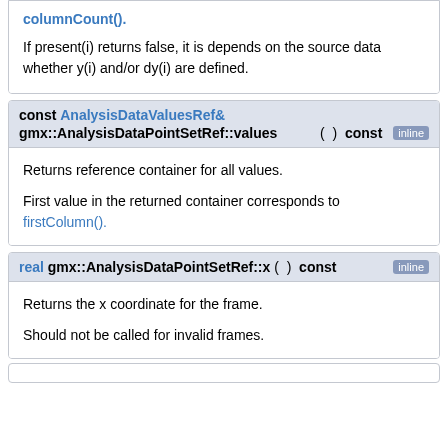columnCount().
If present(i) returns false, it is depends on the source data whether y(i) and/or dy(i) are defined.
const AnalysisDataValuesRef& gmx::AnalysisDataPointSetRef::values ( ) const inline
Returns reference container for all values.
First value in the returned container corresponds to firstColumn().
real gmx::AnalysisDataPointSetRef::x ( ) const inline
Returns the x coordinate for the frame.
Should not be called for invalid frames.